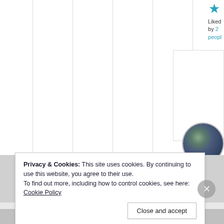[Figure (screenshot): Website screenshot showing column grid layout with white background, vertical dividing lines, a teal star icon, 'Liked by 2 people' text with link, and a circular avatar image in the top right area]
Privacy & Cookies: This site uses cookies. By continuing to use this website, you agree to their use. To find out more, including how to control cookies, see here: Cookie Policy
Close and accept